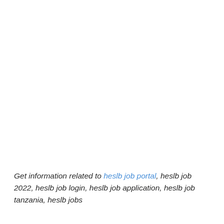Get information related to heslb job portal, heslb job 2022, heslb job login, heslb job application, heslb job tanzania, heslb jobs